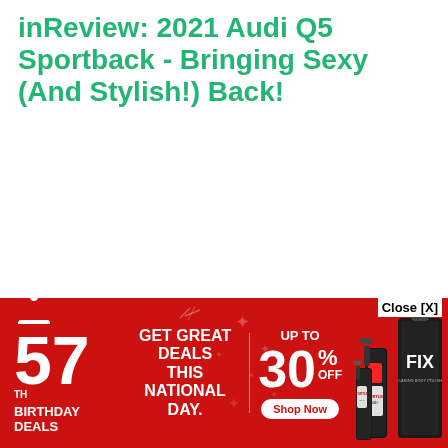inReview: 2021 Audi Q5 Sportback - Bringing Sexy (And Stylish!) Back!
[Figure (other): Advertisement banner: 57th Birthday Deals - Get Great Deals This National Day. Up to 30% OFF. Shop Now. Features product images (spray bottles and FIX product bag) on red background.]